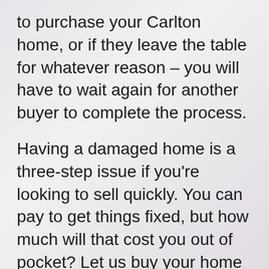to purchase your Carlton home, or if they leave the table for whatever reason – you will have to wait again for another buyer to complete the process.
Having a damaged home is a three-step issue if you're looking to sell quickly. You can pay to get things fixed, but how much will that cost you out of pocket? Let us buy your home